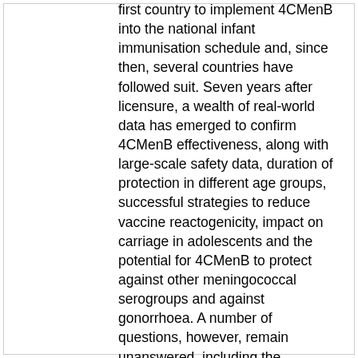first country to implement 4CMenB into the national infant immunisation schedule and, since then, several countries have followed suit. Seven years after licensure, a wealth of real-world data has emerged to confirm 4CMenB effectiveness, along with large-scale safety data, duration of protection in different age groups, successful strategies to reduce vaccine reactogenicity, impact on carriage in adolescents and the potential for 4CMenB to protect against other meningococcal serogroups and against gonorrhoea. A number of questions, however, remain unanswered, including the investigation and management of vaccine-associated fever in infants, as well as disease severity and assessment of breakthrough cases in immunised children. Increasing use of 4CMenB will provide answers in due course. We now have vaccines against all the major serogroups causing IMD worldwide. Next-generation and combination